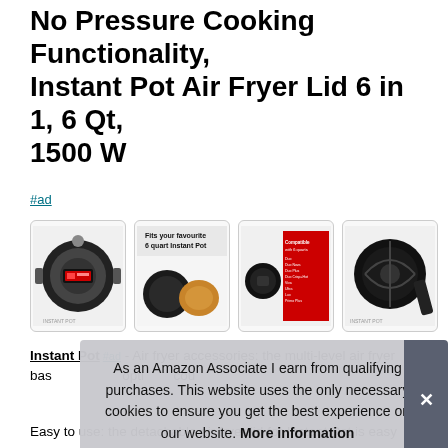No Pressure Cooking Functionality, Instant Pot Air Fryer Lid 6 in 1, 6 Qt, 1500 W
#ad
[Figure (photo): Four product images of the Instant Pot Air Fryer Lid: top-down view of the pot, lifestyle image with chicken and text 'Fits your favourite 6 quart Instant Pot', close-up of lid with compatibility info on red card, and bottom view of the air fryer lid.]
Instant Pot #ad - Air fryer accessories: the multi-level air fryer bas... opti... cou...
Easy to use: the detachable air fryer lid for Instant Pot is easy
As an Amazon Associate I earn from qualifying purchases. This website uses the only necessary cookies to ensure you get the best experience on our website. More information